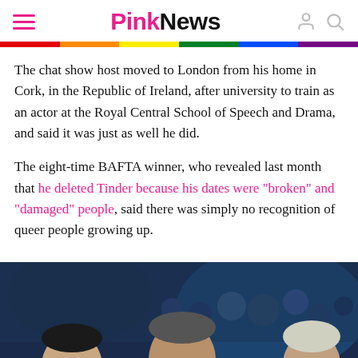PinkNews
The chat show host moved to London from his home in Cork, in the Republic of Ireland, after university to train as an actor at the Royal Central School of Speech and Drama, and said it was just as well he did.
The eight-time BAFTA winner, who revealed last month that he deleted Tinder because his dates were "broken" and "damaged" people, said there was simply no recognition of queer people growing up.
[Figure (photo): Three men in a crowded event venue. The man in the center appears to be Graham Norton. They are in front of a blue-lit crowd. Two of the men are wearing glasses.]